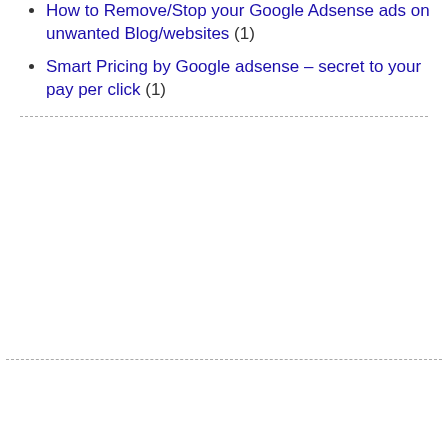How to Remove/Stop your Google Adsense ads on unwanted Blog/websites (1)
Smart Pricing by Google adsense – secret to your pay per click (1)